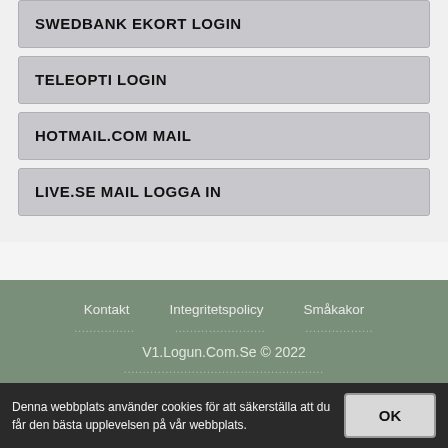SWEDBANK EKORT LOGIN
TELEOPTI LOGIN
HOTMAIL.COM MAIL
LIVE.SE MAIL LOGGA IN
Kontakt   Integritetspolicy   Småkakor
V1.Logun.Com.Se © 2022
Denna webbplats använder cookies för att säkerställa att du får den bästa upplevelsen på vår webbplats.